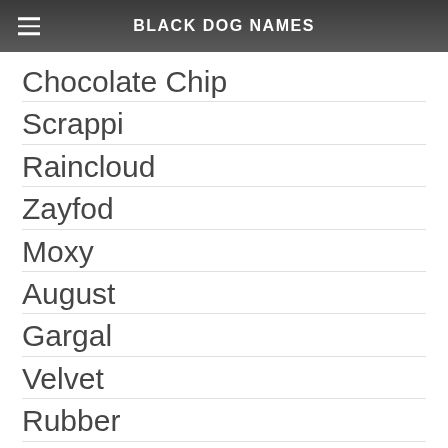BLACK DOG NAMES
Chocolate Chip
Scrappi
Raincloud
Zayfod
Moxy
August
Gargal
Velvet
Rubber
Charli